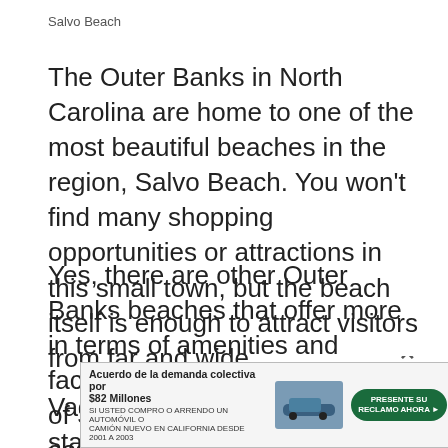Salvo Beach
The Outer Banks in North Carolina are home to one of the most beautiful beaches in the region, Salvo Beach. You won't find many shopping opportunities or attractions in this small town, but the beach itself is enough to attract visitors from far and wide.
Yes, there are other Outer Banks beaches that offer more in terms of amenities and facilities, but the sandy shores of Salvo Beach and its easy assess for water activities makes it the most popular of them all.
Vacationers who are planning to stay here
[Figure (other): Advertisement overlay: Acuerdo de la demanda colectiva por $82 Millones. SI USTED COMPRO O ARRENDO UN AUTOMOVIL O CAMION NUEVO EN CALIFORNIA DESDE 2001 A 2003. PRESENTE SU RECLAMO AHORA button. Car image.]